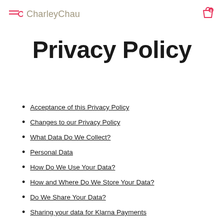CharleyChau
Privacy Policy
Acceptance of this Privacy Policy
Changes to our Privacy Policy
What Data Do We Collect?
Personal Data
How Do We Use Your Data?
How and Where Do We Store Your Data?
Do We Share Your Data?
Sharing your data for Klarna Payments
Your Right to Withhold Information